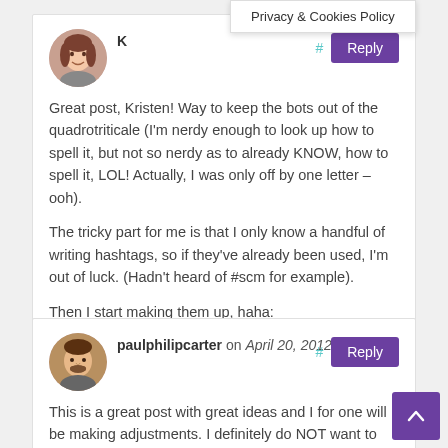Privacy & Cookies Policy
K #
Great post, Kristen! Way to keep the bots out of the quadrotriticale (I'm nerdy enough to look up how to spell it, but not so nerdy as to already KNOW, how to spell it, LOL! Actually, I was only off by one letter – ooh).

The tricky part for me is that I only know a handful of writing hashtags, so if they've already been used, I'm out of luck. (Hadn't heard of #scm for example).

Then I start making them up, haha: #renegadehashtagger
paulphilipcarter on April 20, 2012 #
This is a great post with great ideas and I for one will be making adjustments. I definitely do NOT want to gain the reputation of being a spammer.